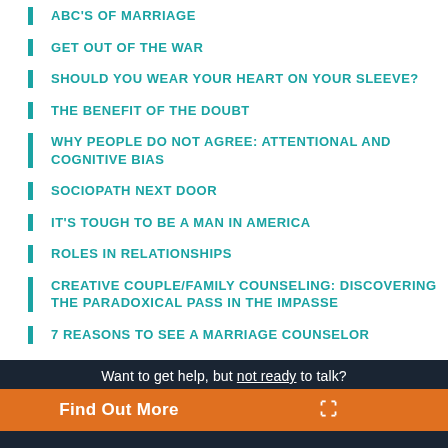ABC'S OF MARRIAGE
GET OUT OF THE WAR
SHOULD YOU WEAR YOUR HEART ON YOUR SLEEVE?
THE BENEFIT OF THE DOUBT
WHY PEOPLE DO NOT AGREE: ATTENTIONAL AND COGNITIVE BIAS
SOCIOPATH NEXT DOOR
IT'S TOUGH TO BE A MAN IN AMERICA
ROLES IN RELATIONSHIPS
CREATIVE COUPLE/FAMILY COUNSELING: DISCOVERING THE PARADOXICAL PASS IN THE IMPASSE
7 REASONS TO SEE A MARRIAGE COUNSELOR
Want to get help, but not ready to talk?
Find Out More